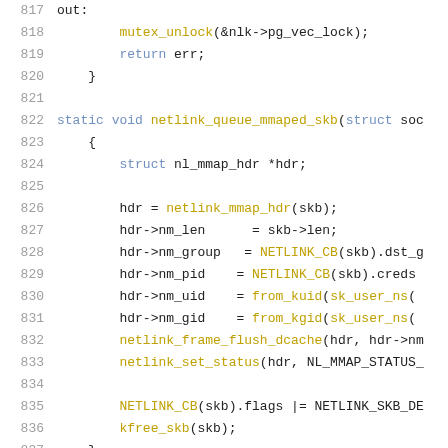Source code listing, lines 817-838, showing C kernel networking code (netlink_queue_mmaped_skb function)